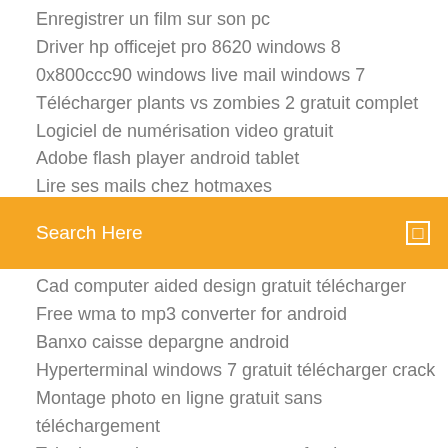Enregistrer un film sur son pc
Driver hp officejet pro 8620 windows 8
0x800ccc90 windows live mail windows 7
Télécharger plants vs zombies 2 gratuit complet
Logiciel de numérisation video gratuit
Adobe flash player android tablet
Lire ses mails chez hotmaxes (partial)
[Figure (screenshot): Orange search bar with text 'Search Here' and a small white square icon on the right]
Cad computer aided design gratuit télécharger
Free wma to mp3 converter for android
Banxo caisse depargne android
Hyperterminal windows 7 gratuit télécharger crack
Montage photo en ligne gratuit sans téléchargement
Telecharger instagram pour pc softonic
Vlc 32 64 bit
Chromium web browser télécharger linux
Geometry dash 2.0 gratuit télécharger android
Nettoyeur pc gratuit vista